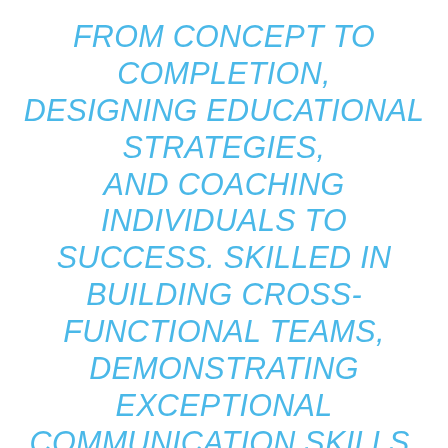FROM CONCEPT TO COMPLETION, DESIGNING EDUCATIONAL STRATEGIES, AND COACHING INDIVIDUALS TO SUCCESS. SKILLED IN BUILDING CROSS-FUNCTIONAL TEAMS, DEMONSTRATING EXCEPTIONAL COMMUNICATION SKILLS, AND MAKING CRITICAL DECISIONS DURING CHALLENGES. ADAPTABLE AND TRANSFORMATIONAL LEADER WITH AN ABILITY TO WORK INDEPENDENTLY, CREATING EFFECTIVE PRESENTATIONS, AND DEVELOPING OPPORTUNITIES THAT FURTHER ESTABLISH ORGANIZATIONAL GOALS.